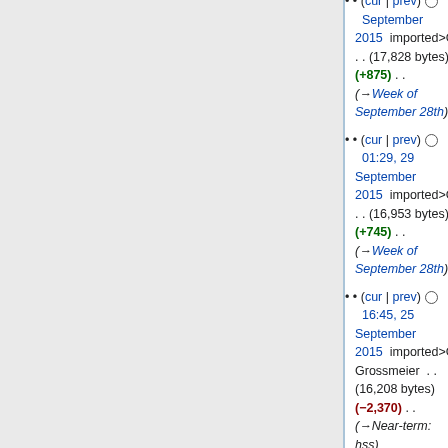(cur | prev) ○  September 2015  imported>Catrope . . (17,828 bytes) (+875) . . (→Week of September 28th)
(cur | prev) ○  01:29, 29 September 2015  imported>Catrope . . (16,953 bytes) (+745) . . (→Week of September 28th)
(cur | prev) ○  16:45, 25 September 2015  imported>Greg Grossmeier . . (16,208 bytes) (−2,370) . . (→Near-term: hss)
(cur | prev) ○  21:13, 24 September 2015  imported>Alex Monk . . (18,578 bytes) (+386) . . (→Week of September 21st: +1 for swat)
(cur | prev) ○  23:13, 23 September 2015  imported>Alex Monk . . (18,192 bytes) (+590) . .